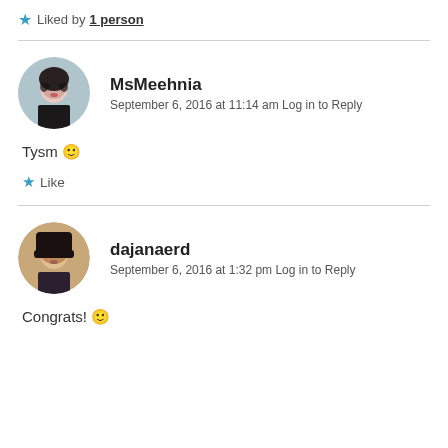★ Liked by 1 person
MsMeehnia
September 6, 2016 at 11:14 am Log in to Reply
Tysm 🙂
★ Like
dajanaerd
September 6, 2016 at 1:32 pm Log in to Reply
Congrats! 🙂